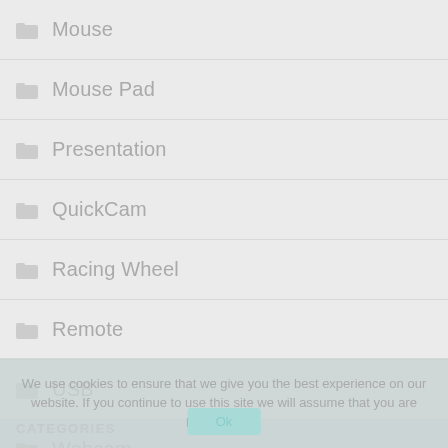Mouse
Mouse Pad
Presentation
QuickCam
Racing Wheel
Remote
USB
Webcam
We use cookies to ensure that we give you the best experience on our website. If you continue to use this site we will assume that you are happy with it.
Ok
CATEGORIES